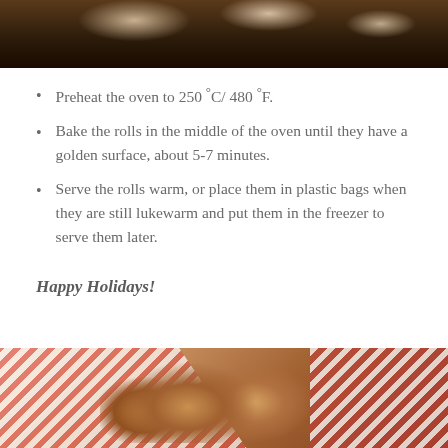[Figure (photo): Top portion of a photo showing baked bread rolls on a dark background, partially visible at top of page.]
Preheat the oven to 250 °C/ 480 °F.
Bake the rolls in the middle of the oven until they have a golden surface, about 5-7 minutes.
Serve the rolls warm, or place them in plastic bags when they are still lukewarm and put them in the freezer to serve them later.
Happy Holidays!
[Figure (photo): Photo of baked rolls in a red and white striped cloth/basket, partially visible at bottom of page.]